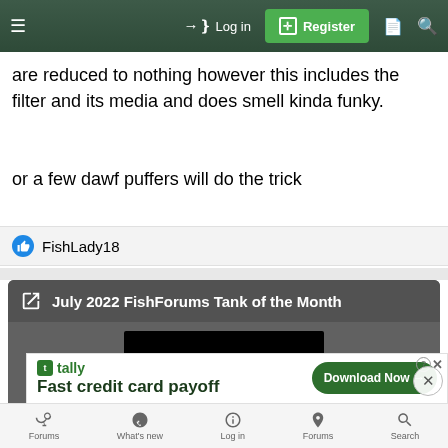≡  Log in  Register
are reduced to nothing however this includes the filter and its media and does smell kinda funky.
or a few dawf puffers will do the trick
FishLady18
[Figure (screenshot): July 2022 FishForums Tank of the Month promotional card with video thumbnail and play button]
Fast credit card payoff — Tally — Download Now